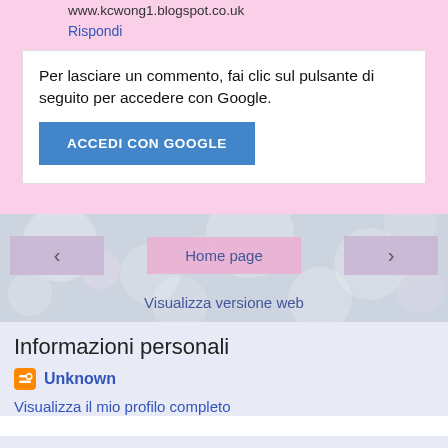www.kcwong1.blogspot.co.uk
Rispondi
Per lasciare un commento, fai clic sul pulsante di seguito per accedere con Google.
ACCEDI CON GOOGLE
‹
Home page
›
Visualizza versione web
Informazioni personali
Unknown
Visualizza il mio profilo completo
Powered by Blogger.